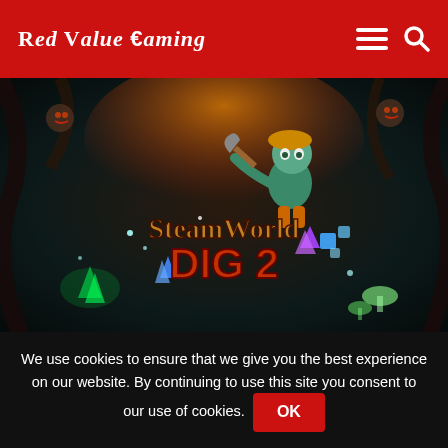Red Value €aming
[Figure (illustration): SteamWorld Dig 2 game cover art showing a cartoon steampunk character wielding a pickaxe against a dark underground fantasy background with glowing crystals, fire, and the game title 'SteamWorld Dig 2' in stylized text]
SteamWorld Dig 2 Review
Platforms: PC, Nintendo Switch, Playstation
We use cookies to ensure that we give you the best experience on our website. By continuing to use this site you consent to our use of cookies. OK